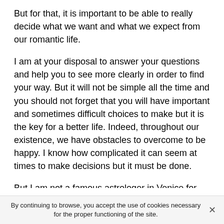But for that, it is important to be able to really decide what we want and what we expect from our romantic life.
I am at your disposal to answer your questions and help you to see more clearly in order to find your way. But it will not be simple all the time and you should not forget that you will have important and sometimes difficult choices to make but it is the key for a better life. Indeed, throughout our existence, we have obstacles to overcome to be happy. I know how complicated it can seem at times to make decisions but it must be done.
But I am not a famous astrologer in Venice for nothing and I can tell you that you can trust me because many people have done this before you and they were able to have the life they really wanted. So it's time for you to find your way back to happiness and to get there, all you have to do is
By continuing to browse, you accept the use of cookies necessary for the proper functioning of the site.